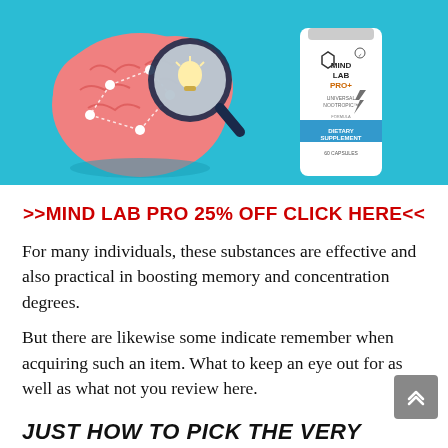[Figure (illustration): Product advertisement image showing a cartoon brain with magnifying glass and Mind Lab Pro supplement bottle on a teal/blue background]
>>MIND LAB PRO 25% OFF CLICK HERE<<
For many individuals, these substances are effective and also practical in boosting memory and concentration degrees.
But there are likewise some indicate remember when acquiring such an item. What to keep an eye out for as well as what not you review here.
JUST HOW TO PICK THE VERY